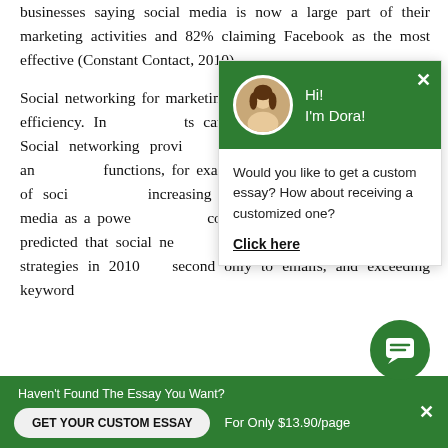businesses saying social media is now a large part of their marketing activities and 82% claiming Facebook as the most effective (Constant Contact, 2010).
Social networking for marketing purposes is known for its cost efficiency. In... can be achieved relative... Social networking provi... or the B2C activities of an... functions, for example,... through the use of soci... increasing number of m... social media as a powe... conducted by the Cente... predicted that social ne... the most popular marketing strategies in 2010... second only to emails, and exceeding keyword...
[Figure (other): Chat popup with green header showing avatar of a woman and text 'Hi! I'm Dora!', body text 'Would you like to get a custom essay? How about receiving a customized one?', and 'Click here' link. Close X button in top right.]
[Figure (other): Green circular chat bubble button with message icon, positioned bottom right.]
Haven't Found The Essay You Want?
GET YOUR CUSTOM ESSAY
For Only $13.90/page